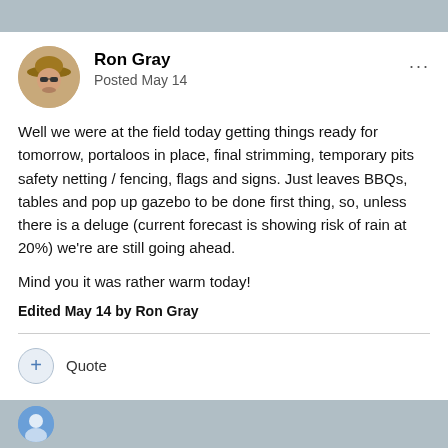Ron Gray
Posted May 14
Well we were at the field today getting things ready for tomorrow, portaloos in place, final strimming, temporary pits safety netting / fencing, flags and signs. Just leaves BBQs, tables and pop up gazebo to be done first thing, so, unless there is a deluge (current forecast is showing risk of rain at 20%) we're are still going ahead.

Mind you it was rather warm today!
Edited May 14 by Ron Gray
Quote